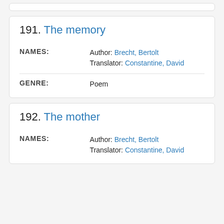191. The memory
| Field | Value |
| --- | --- |
| NAMES: | Author: Brecht, Bertolt
Translator: Constantine, David |
| GENRE: | Poem |
192. The mother
| Field | Value |
| --- | --- |
| NAMES: | Author: Brecht, Bertolt
Translator: Constantine, David |